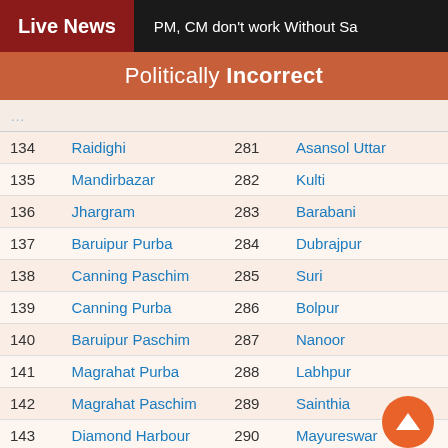Live News | PM, CM don't work Without Sa
Politically Incorrect
| # | Name | # | Name |
| --- | --- | --- | --- |
| 134 | Raidighi | 281 | Asansol Uttar |
| 135 | Mandirbazar | 282 | Kulti |
| 136 | Jhargram | 283 | Barabani |
| 137 | Baruipur Purba | 284 | Dubrajpur |
| 138 | Canning Paschim | 285 | Suri |
| 139 | Canning Purba | 286 | Bolpur |
| 140 | Baruipur Paschim | 287 | Nanoor |
| 141 | Magrahat Purba | 288 | Labhpur |
| 142 | Magrahat Paschim | 289 | Sainthia |
| 143 | Diamond Harbour | 290 | Mayureswar |
| 144 | Falta | 291 | Rampurhat |
| 145 | Satgachhia | 292 | Hansan |